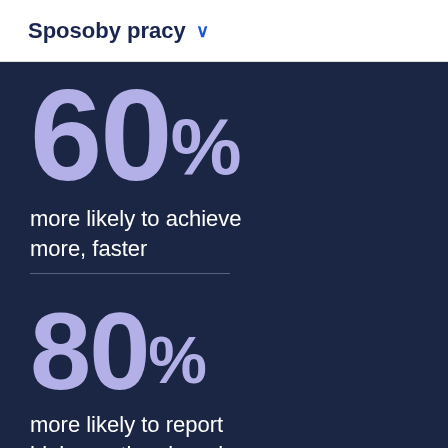Sposoby pracy
60% more likely to achieve more, faster
80% more likely to report high emotional well